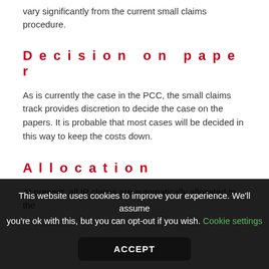vary significantly from the current small claims procedure.
Decision on paper
As is currently the case in the PCC, the small claims track provides discretion to decide the case on the papers. It is probable that most cases will be decided in this way to keep the costs down.
Allocation
At present, all IP claims are automatically allocated to the
This website uses cookies to improve your experience. We'll assume you're ok with this, but you can opt-out if you wish. Cookie settings
ACCEPT